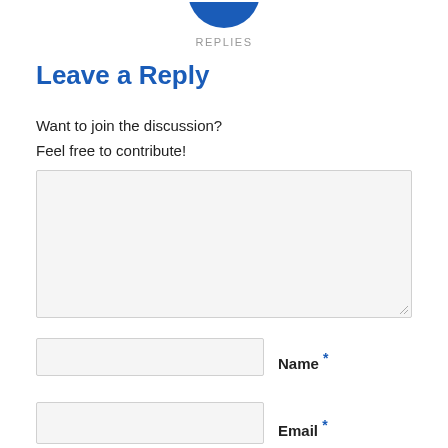[Figure (illustration): Partial blue circle icon cropped at top of page]
REPLIES
Leave a Reply
Want to join the discussion?
Feel free to contribute!
[Figure (other): Large text input/comment textarea with light gray background and resize handle]
[Figure (other): Name input field, light gray background]
Name *
[Figure (other): Email input field, light gray background]
Email *